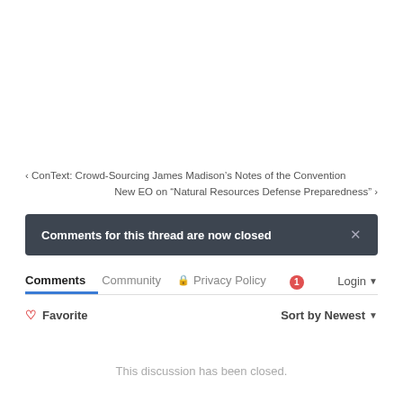< ConText: Crowd-Sourcing James Madison's Notes of the Convention
New EO on “Natural Resources Defense Preparedness” >
Comments for this thread are now closed
Comments  Community  🔒 Privacy Policy  💬 1  Login ▾
♥ Favorite    Sort by Newest ▾
This discussion has been closed.